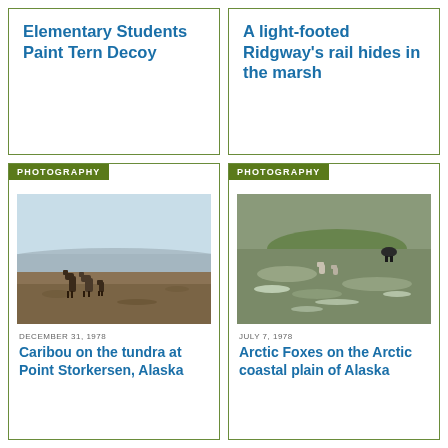Elementary Students Paint Tern Decoy
A light-footed Ridgway's rail hides in the marsh
[Figure (photo): Caribou on the tundra at Point Storkersen, Alaska. Several caribou grazing on flat tundra landscape with mountains in background.]
DECEMBER 31, 1978
Caribou on the tundra at Point Storkersen, Alaska
[Figure (photo): Arctic Foxes on the Arctic coastal plain of Alaska. Animals visible on green and white tundra/wetland landscape.]
JULY 7, 1978
Arctic Foxes on the Arctic coastal plain of Alaska